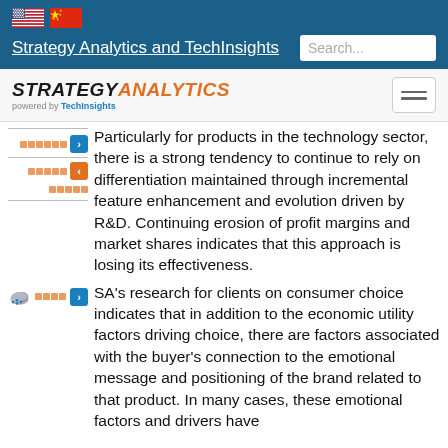Strategy Analytics and TechInsights
[Figure (logo): Strategy Analytics powered by TechInsights logo with hamburger menu]
Particularly for products in the technology sector, there is a strong tendency to continue to rely on differentiation maintained through incremental feature enhancement and evolution driven by R&D. Continuing erosion of profit margins and market shares indicates that this approach is losing its effectiveness.
SA's research for clients on consumer choice indicates that in addition to the economic utility factors driving choice, there are factors associated with the buyer's connection to the emotional message and positioning of the brand related to that product. In many cases, these emotional factors and drivers have